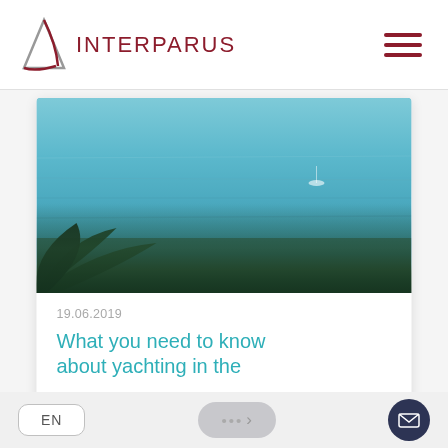[Figure (logo): Interparus sailing logo with triangle/sail icon and text INTERPARUS in dark red]
[Figure (photo): Aerial or distant view of blue sea water with tropical plant leaves in foreground]
19.06.2019
What you need to know about yachting in the
The Balearic Islands and Ibiza in particular are renowned worldwide as the premier party destination in
Read more…
EN
...→